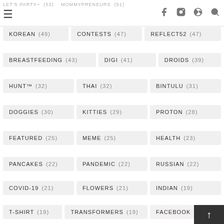LET'S PARTY~ (52)  MOMMYPRENEURS (51)
KOREAN (49)
CONTESTS (47)
REFLECT52 (47)
BREASTFEEDING (43)
DIGI (41)
DROIDS (39)
HUNT™ (32)
THAI (32)
BINTULU (31)
DOGGIES (30)
KITTIES (29)
PROTON (28)
FEATURED (25)
MEME (25)
HEALTH (23)
PANCAKES (22)
PANDEMIC (22)
RUSSIAN (22)
COVID-19 (21)
FLOWERS (21)
INDIAN (19)
T-SHIRT (19)
TRANSFORMERS (19)
FACEBOOK (18)
VIETNAMESE (17)
VALENTINE'S DAY (16)
WHUKIE (16)
BREAD MAKER (15)
BURGERS (15)